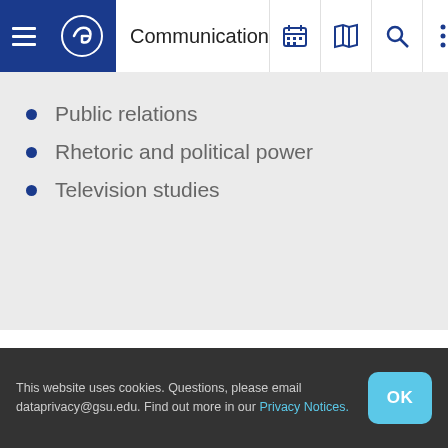Communication
Public relations
Rhetoric and political power
Television studies
Ongoing Research
This website uses cookies. Questions, please email dataprivacy@gsu.edu. Find out more in our Privacy Notices.